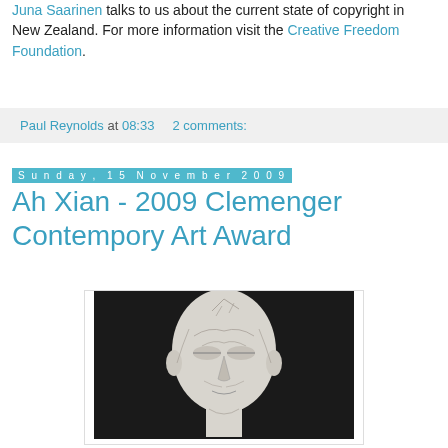Juna Saarinen talks to us about the current state of copyright in New Zealand. For more information visit the Creative Freedom Foundation.
Paul Reynolds at 08:33   2 comments:
Sunday, 15 November 2009
Ah Xian - 2009 Clemenger Contempory Art Award
[Figure (photo): A white porcelain or plaster sculpture of a human head with intricate vein or crack patterns across the surface, photographed against a dark background.]